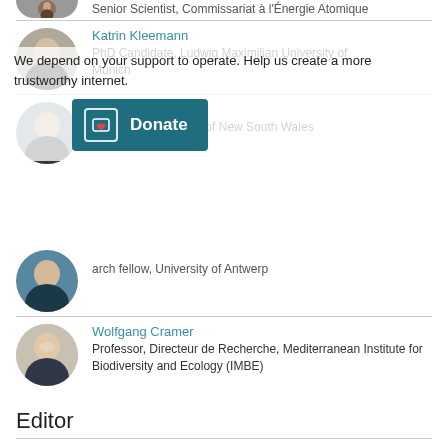Senior Scientist, Commissariat à l'Énergie Atomique
[Figure (photo): Circular avatar photo of a man]
Katrin Kleemann
PhD Candidate, Ludwig Maximilian University of Munich
[Figure (photo): Circular avatar photo of a woman]
Support our work
We depend on your support to operate. Help us create a more trustworthy internet.
Katrin Meissner
Professor, University of New South Wales
[Figure (photo): Circular avatar photo of a woman on a beach]
[Figure (photo): Circular avatar photo of a woman in blue]
...arch fellow, University of Antwerp
Wolfgang Cramer
Professor, Directeur de Recherche, Mediterranean Institute for Biodiversity and Ecology (IMBE)
[Figure (photo): Circular avatar photo of Wolfgang Cramer]
Editor
Nikki Forrester
Science Editor, Climate
[Figure (photo): Circular avatar photo of Nikki Forrester]